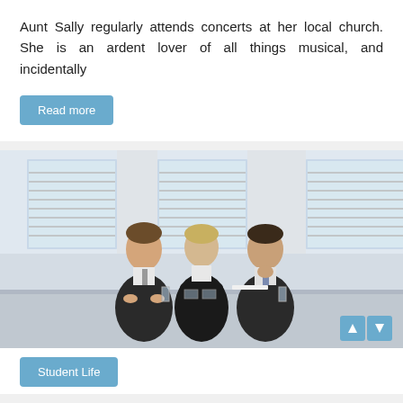Aunt Sally regularly attends concerts at her local church. She is an ardent lover of all things musical, and incidentally
Read more
[Figure (photo): Three business professionals (two men and one woman) seated at a conference table in formal attire against a light-colored office background with windows]
Student Life